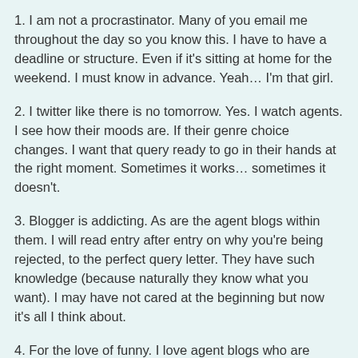1. I am not a procrastinator. Many of you email me throughout the day so you know this. I have to have a deadline or structure. Even if it's sitting at home for the weekend. I must know in advance. Yeah… I'm that girl.
2. I twitter like there is no tomorrow. Yes. I watch agents. I see how their moods are. If their genre choice changes. I want that query ready to go in their hands at the right moment. Sometimes it works… sometimes it doesn't.
3. Blogger is addicting. As are the agent blogs within them. I will read entry after entry on why you're being rejected, to the perfect query letter. They have such knowledge (because naturally they know what you want). I may have not cared at the beginning but now it's all I think about.
4. For the love of funny. I love agent blogs who are downright hysterical… Case in point: Getting past the gatekeeper. Her honesty and funnies keep me going back for more.
5. ...